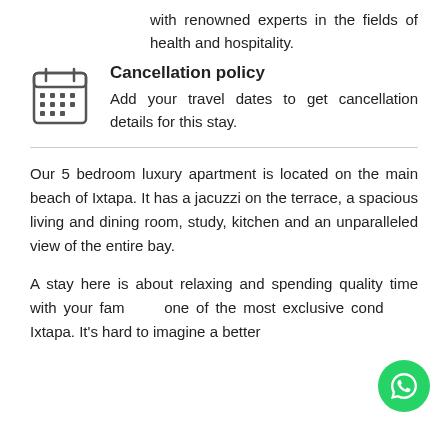with renowned experts in the fields of health and hospitality.
Cancellation policy
Add your travel dates to get cancellation details for this stay.
Our 5 bedroom luxury apartment is located on the main beach of Ixtapa. It has a jacuzzi on the terrace, a spacious living and dining room, study, kitchen and an unparalleled view of the entire bay.
A stay here is about relaxing and spending quality time with your family in one of the most exclusive condos in Ixtapa. It's hard to imagine a better